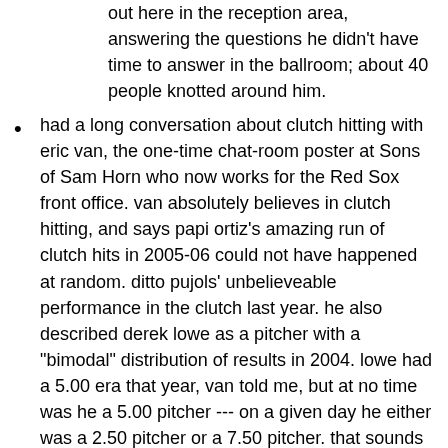out here in the reception area, answering the questions he didn't have time to answer in the ballroom; about 40 people knotted around him.
had a long conversation about clutch hitting with eric van, the one-time chat-room poster at Sons of Sam Horn who now works for the Red Sox front office. van absolutely believes in clutch hitting, and says papi ortiz's amazing run of clutch hits in 2005-06 could not have happened at random. ditto pujols' unbelieveable performance in the clutch last year. he also described derek lowe as a pitcher with a "bimodal" distribution of results in 2004. lowe had a 5.00 era that year, van told me, but at no time was he a 5.00 pitcher --- on a given day he either was a 2.50 pitcher or a 7.50 pitcher. that sounds like kip wells, i said, and